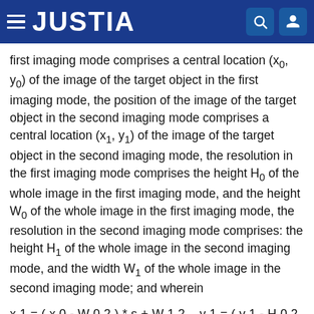JUSTIA
first imaging mode comprises a central location (x0, y0) of the image of the target object in the first imaging mode, the position of the image of the target object in the second imaging mode comprises a central location (x1, y1) of the image of the target object in the second imaging mode, the resolution in the first imaging mode comprises the height H0 of the whole image in the first imaging mode, and the height W0 of the whole image in the first imaging mode, the resolution in the second imaging mode comprises: the height H1 of the whole image in the second imaging mode, and the width W1 of the whole image in the second imaging mode; and wherein